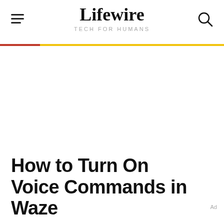Lifewire TECH FOR HUMANS
How to Turn On Voice Commands in Waze